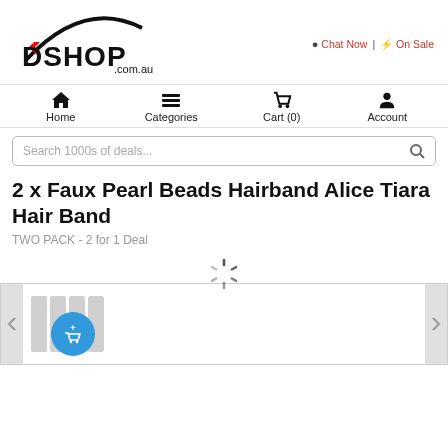[Figure (logo): DSHOP.com.au logo with red star and black arc/text]
Chat Now | ⚡ On Sale
Home  Categories  Cart (0)  Account
Search 1000s of deals...
2 x Faux Pearl Beads Hairband Alice Tiara Hair Band
TWO PACK - 2 for 1 Deal
[Figure (screenshot): Product image carousel with loading spinner, add to cart button, and navigation arrows]